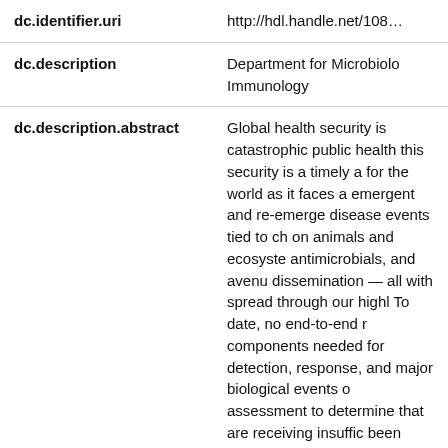| Field | Value |
| --- | --- |
| dc.identifier.uri | http://hdl.handle.net/108… |
| dc.description | Department for Microbiology and Immunology |
| dc.description.abstract | Global health security is catastrophic public health this security is a timely a for the world as it faces a emergent and re-emerge disease events tied to ch on animals and ecosyste antimicrobials, and avenu dissemination — all with spread through our highl To date, no end-to-end r components needed for detection, response, and major biological events o assessment to determine that are receiving insuffic been published. |